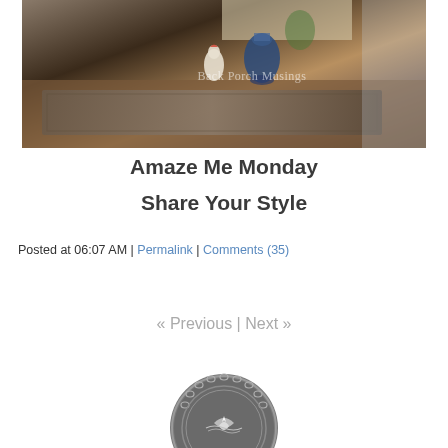[Figure (photo): Interior home photo showing a rug, furniture, and decorative items including a blue and white ginger jar and a white rooster figurine. Watermark text reads 'Back Porch Musings'.]
Amaze Me Monday
Share Your Style
Posted at 06:07 AM | Permalink | Comments (35)
« Previous | Next »
[Figure (logo): Circular decorative logo/badge with ornate border, gray background, and white decorative flourish design in center.]